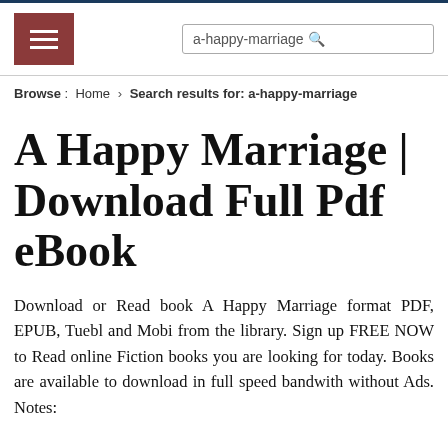a-happy-marriage
Browse : Home > Search results for: a-happy-marriage
A Happy Marriage | Download Full Pdf eBook
Download or Read book A Happy Marriage format PDF, EPUB, Tuebl and Mobi from the library. Sign up FREE NOW to Read online Fiction books you are looking for today. Books are available to download in full speed bandwith without Ads. Notes: